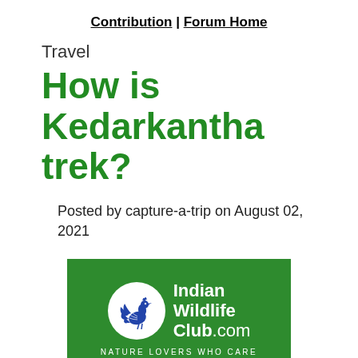Contribution | Forum Home
Travel
How is Kedarkantha trek?
Posted by capture-a-trip on August 02, 2021
[Figure (logo): Indian Wildlife Club.com logo — green background with a white circle containing a blue peacock/pheasant bird silhouette, text 'Indian Wildlife Club.com' and tagline 'NATURE LOVERS WHO CARE']